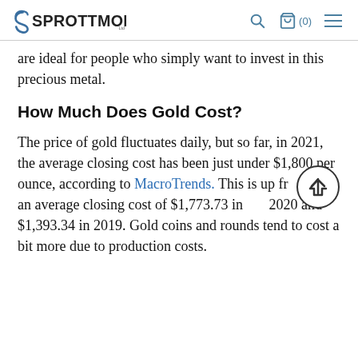SPROTT MONEY — navigation header with search, cart, and menu icons
are ideal for people who simply want to invest in this precious metal.
How Much Does Gold Cost?
The price of gold fluctuates daily, but so far, in 2021, the average closing cost has been just under $1,800 per ounce, according to MacroTrends. This is up from an average closing cost of $1,773.73 in 2020 and $1,393.34 in 2019. Gold coins and rounds tend to cost a bit more due to production costs.